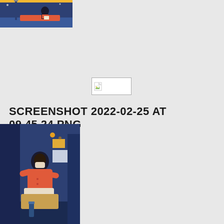[Figure (illustration): Partial illustration on yellow/amber background at top-left corner showing a person on a boat/ship scene, cropped]
[Figure (illustration): Broken image placeholder icon with white background and border in center of page]
SCREENSHOT 2022-02-25 AT 09.45.24.PNG
[Figure (illustration): Illustration on yellow/amber background at bottom-left showing a person in orange outfit seated in a dark blue room/office environment]